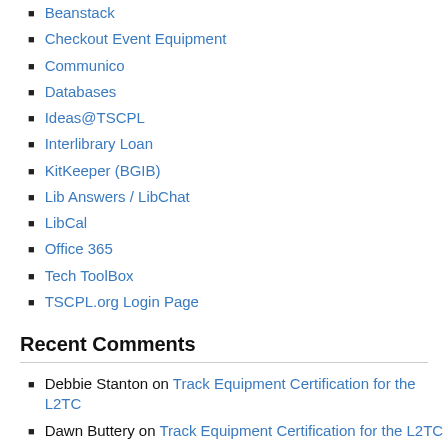Beanstack
Checkout Event Equipment
Communico
Databases
Ideas@TSCPL
Interlibrary Loan
KitKeeper (BGIB)
Lib Answers / LibChat
LibCal
Office 365
Tech ToolBox
TSCPL.org Login Page
Recent Comments
Debbie Stanton on Track Equipment Certification for the L2TC
Dawn Buttery on Track Equipment Certification for the L2TC
Dawn Buttery on Track Equipment Certification for the L2TC
Shannon Eddings on Track Equipment Certification for the